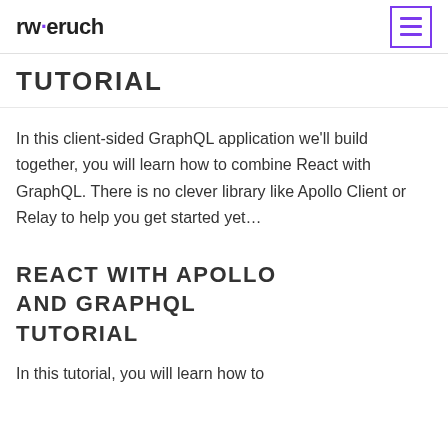rwieruch
TUTORIAL
In this client-sided GraphQL application we'll build together, you will learn how to combine React with GraphQL. There is no clever library like Apollo Client or Relay to help you get started yet…
REACT WITH APOLLO AND GRAPHQL TUTORIAL
In this tutorial, you will learn how to